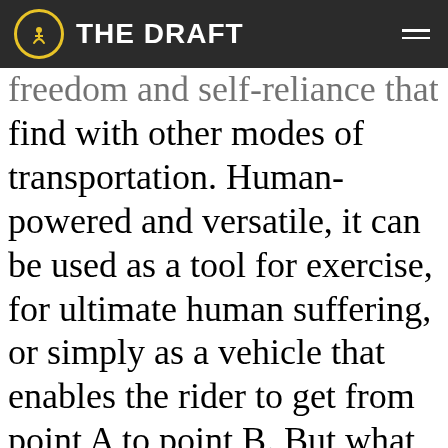THE DRAFT
freedom and self-reliance that is hard to find with other modes of transportation. Human-powered and versatile, it can be used as a tool for exercise, for ultimate human suffering, or simply as a vehicle that enables the rider to get from point A to point B. But what if you can't ride a bike like you used to? Perhaps your health dictates it, or you live in a hilly area and travelling by bike is strenuous and inefficient. This is where the electric bicycle can offer salvation. E-bikes are often